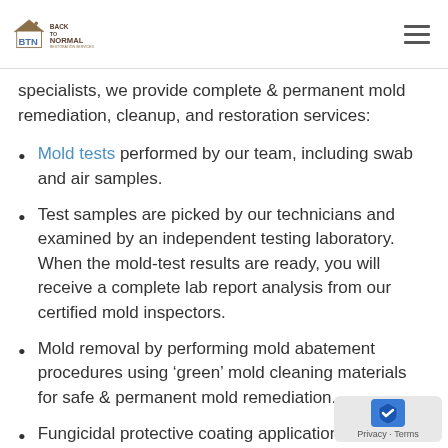Back to Normal Restoration Services
specialists, we provide complete & permanent mold remediation, cleanup, and restoration services:
Mold tests performed by our team, including swab and air samples.
Test samples are picked by our technicians and examined by an independent testing laboratory. When the mold-test results are ready, you will receive a complete lab report analysis from our certified mold inspectors.
Mold removal by performing mold abatement procedures using ‘green’ mold cleaning materials for safe & permanent mold remediation.
Fungicidal protective coating application to p... future mold growth in the treated area...